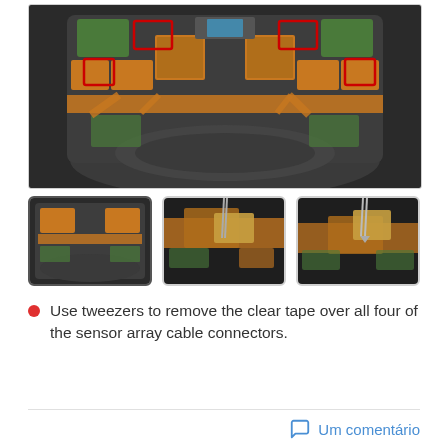[Figure (photo): Top-down disassembly photo of a sensor array device showing circuit boards, flex cables, and highlighted connectors in red rectangles]
[Figure (photo): Thumbnail 1: Overview of the sensor array disassembled, selected state]
[Figure (photo): Thumbnail 2: Close-up of flex cables and circuit board being worked on]
[Figure (photo): Thumbnail 3: Close-up of tweezers removing tape from connector area]
Use tweezers to remove the clear tape over all four of the sensor array cable connectors.
Um comentário